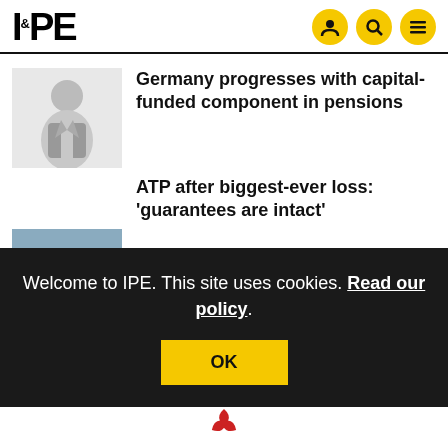IPE
Germany progresses with capital-funded component in pensions
ATP after biggest-ever loss: 'guarantees are intact'
Welcome to IPE. This site uses cookies. Read our policy.
OK